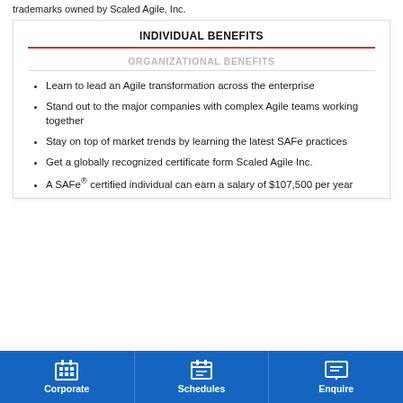trademarks owned by Scaled Agile, Inc.
INDIVIDUAL BENEFITS
ORGANIZATIONAL BENEFITS
Learn to lead an Agile transformation across the enterprise
Stand out to the major companies with complex Agile teams working together
Stay on top of market trends by learning the latest SAFe practices
Get a globally recognized certificate form Scaled Agile Inc.
A SAFe® certified individual can earn a salary of $107,500 per year
Corporate   Schedules   Enquire